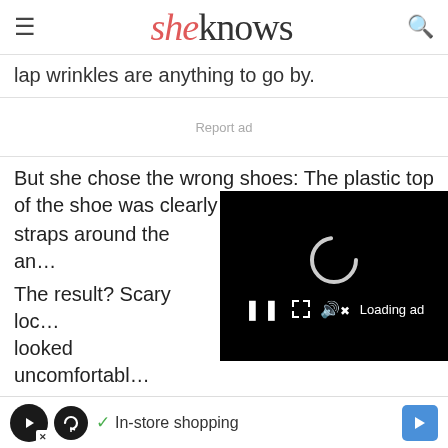sheknows
lap wrinkles are anything to go by.
Report ad
But she chose the wrong shoes: The plastic top of the shoe was clearly cutt… straps around the an…
The result? Scary loc… looked uncomfortable…
Earlier this month, Kardashian Instagrammed a photo
[Figure (screenshot): Video player overlay with black background, loading spinner, and controls: pause, expand, mute, Loading ad text]
[Figure (screenshot): Bottom ad banner: loop icon, checkmark, In-store shopping text, navigation arrow icon]